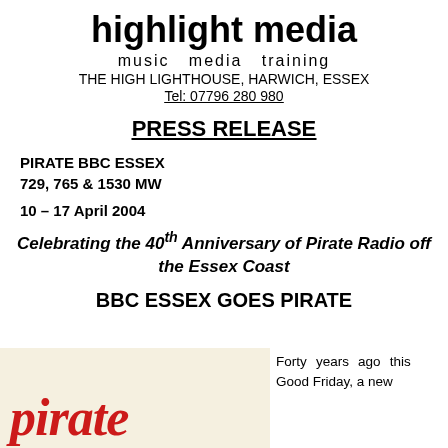highlight media
music  media  training
THE HIGH LIGHTHOUSE, HARWICH, ESSEX
Tel: 07796 280 980
PRESS RELEASE
PIRATE BBC ESSEX
729, 765 & 1530 MW
10 – 17 April 2004
Celebrating the 40th Anniversary of Pirate Radio off the Essex Coast
BBC ESSEX GOES PIRATE
[Figure (illustration): Pirate radio logo text in red gothic/old-English style font on cream background, showing the word 'pirate']
Forty years ago this Good Friday, a new